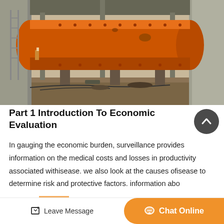[Figure (photo): Industrial construction site showing a large orange cylindrical vessel/tank mounted horizontally between concrete pillars with construction equipment and workers visible in the background]
Part 1 Introduction To Economic Evaluation
In gauging the economic burden, surveillance provides information on the medical costs and losses in productivity associated withisease. we also look at the causes ofisease to determine risk and protective factors. information abo...
Leave Message   Chat Online